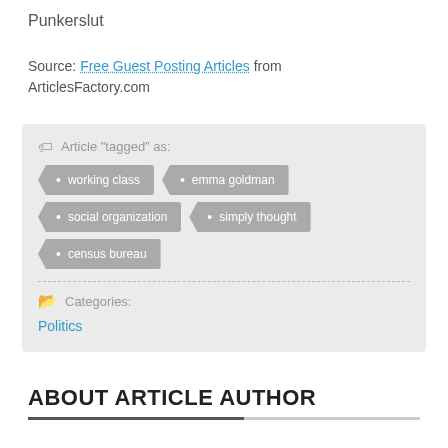Punkerslut
Source: Free Guest Posting Articles from ArticlesFactory.com
Article "tagged" as: working class, emma goldman, social organization, simply thought, census bureau
Categories: Politics
ABOUT ARTICLE AUTHOR